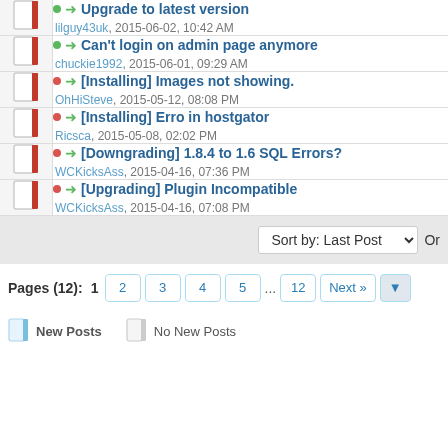Upgrade to latest version — lilguy43uk, 2015-06-02, 10:42 AM
Can't login on admin page anymore — chuckie1992, 2015-06-01, 09:29 AM
[Installing] Images not showing. — OhHiSteve, 2015-05-12, 08:08 PM
[Installing] Erro in hostgator — Ricsca, 2015-05-08, 02:02 PM
[Downgrading] 1.8.4 to 1.6 SQL Errors? — WCKicksAss, 2015-04-16, 07:36 PM
[Upgrading] Plugin Incompatible — WCKicksAss, 2015-04-16, 07:08 PM
Sort by: Last Post
Pages (12): 1 2 3 4 5 ... 12 Next »
New Posts   No New Posts